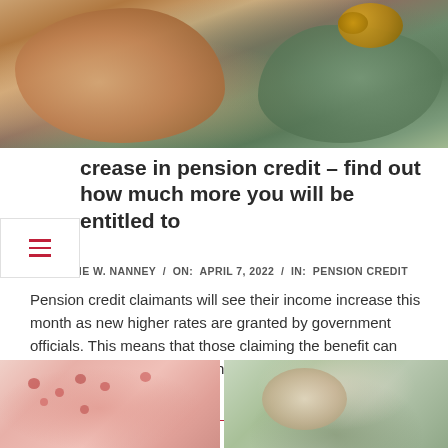[Figure (photo): Close-up photo of elderly hands holding coins]
Increase in pension credit – find out how much more you will be entitled to
BY: ANNIE W. NANNEY / ON: APRIL 7, 2022 / IN: PENSION CREDIT
Pension credit claimants will see their income increase this month as new higher rates are granted by government officials. This means that those claiming the benefit can expect a 3.1% increase. With the cost of living proving difficult for some households as fuel costs soar, electricity and gas prices rise
READ MORE →
[Figure (photo): Close-up photo of skin with rash or spots]
[Figure (photo): Photo of elderly person, possibly with caregiver]